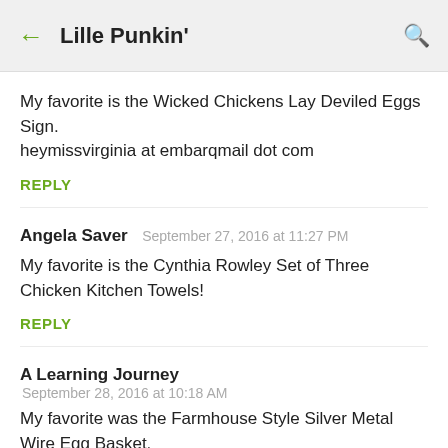← Lille Punkin' 🔍
My favorite is the Wicked Chickens Lay Deviled Eggs Sign.
heymissvirginia at embarqmail dot com
REPLY
Angela Saver  September 27, 2016 at 11:27 PM
My favorite is the Cynthia Rowley Set of Three Chicken Kitchen Towels!
REPLY
A Learning Journey
September 28, 2016 at 10:18 AM
My favorite was the Farmhouse Style Silver Metal Wire Egg Basket.
REPLY
DeLynne...